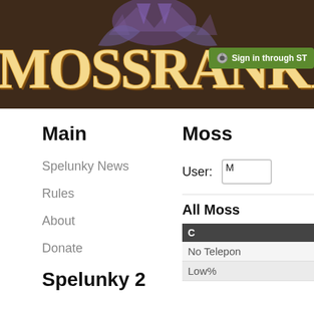[Figure (screenshot): MOSSRANKING website header banner with brown background, large yellow-cream stylized logo text, purple bat creatures, and a green Steam sign-in button]
Main
Spelunky News
Rules
About
Donate
Spelunky 2
Moss
User: M
All Moss
| C |
| --- |
| No Telepon |
| Low% |